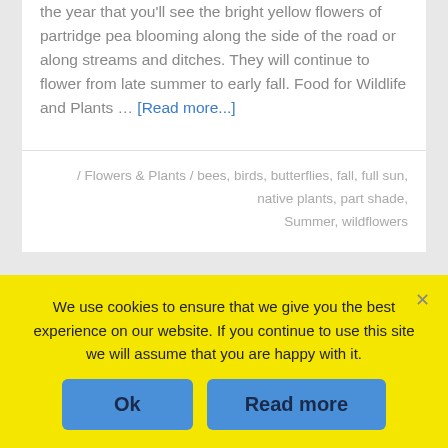the year that you'll see the bright yellow flowers of partridge pea blooming along the side of the road or along streams and ditches. They will continue to flower from late summer to early fall. Food for Wildlife and Plants … [Read more...]
/ Flowers & Plants / bees, birds, butterflies, fall, full sun, native plants, part shade, Summer, wildflowers
February 27, 2017
Bringing in the Beauty of Spring
We use cookies to ensure that we give you the best experience on our website. If you continue to use this site we will assume that you are happy with it.
Ok
Read more